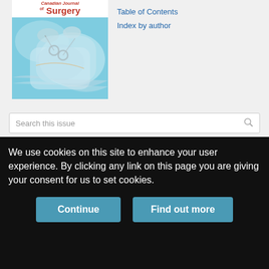[Figure (photo): Cover of Canadian Journal of Surgery showing a surgical procedure with gloved hands using instruments]
Table of Contents
Index by author
Search this issue
Sign up for alerts
NAVIGATE TO
Volume * [input] Issue [input]
We use cookies on this site to enhance your user experience. By clicking any link on this page you are giving your consent for us to set cookies.
Continue
Find out more